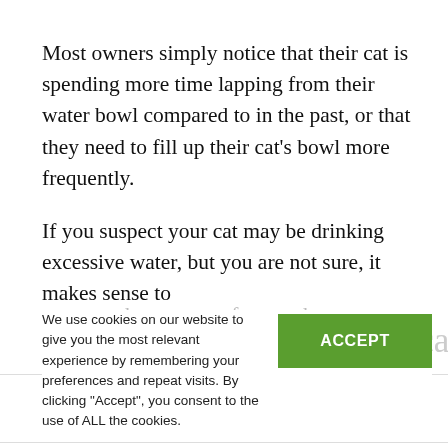Most owners simply notice that their cat is spending more time lapping from their water bowl compared to in the past, or that they need to fill up their cat's bowl more frequently.
If you suspect your cat may be drinking excessive water, but you are not sure, it makes sense to measure the amount of water that you are adding
We use cookies on our website to give you the most relevant experience by remembering your preferences and repeat visits. By clicking "Accept", you consent to the use of ALL the cookies.
How much water should a cat drink in 24 hours?
Cats generally drink enough water to keep their